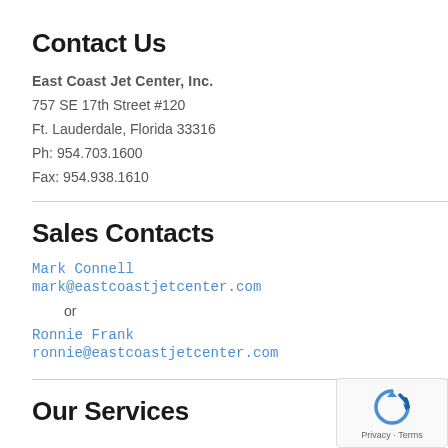Contact Us
East Coast Jet Center, Inc.
757 SE 17th Street #120
Ft. Lauderdale, Florida 33316
Ph: 954.703.1600
Fax: 954.938.1610
Sales Contacts
Mark Connell
mark@eastcoastjetcenter.com
or
Ronnie Frank
ronnie@eastcoastjetcenter.com
Our Services
[Figure (other): reCAPTCHA widget with Privacy and Terms text]